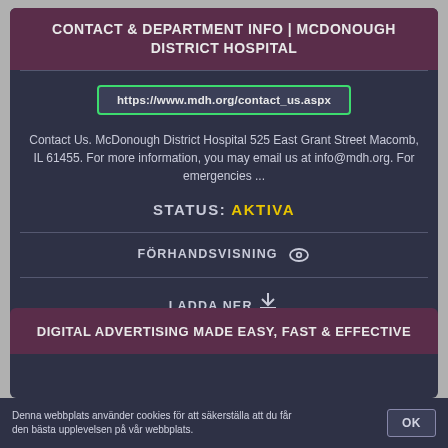CONTACT & DEPARTMENT INFO | MCDONOUGH DISTRICT HOSPITAL
https://www.mdh.org/contact_us.aspx
Contact Us. McDonough District Hospital 525 East Grant Street Macomb, IL 61455. For more information, you may email us at info@mdh.org. For emergencies ...
STATUS: AKTIVA
FÖRHANDSVISNING
LADDA NER
DIGITAL ADVERTISING MADE EASY, FAST & EFFECTIVE
Denna webbplats använder cookies för att säkerställa att du får den bästa upplevelsen på vår webbplats.